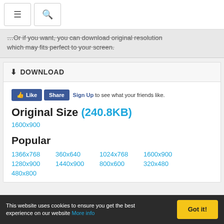≡  🔍
…Or if you want, you can download original resolution which may fits perfect to your screen.
⬇ DOWNLOAD
[Figure (other): Facebook Like and Share buttons with text 'Sign Up to see what your friends like.']
Original Size (240.8KB)
1600x900
Popular
1366x768
360x640
1024x768
1600x900
1280x900
1440x900
800x600
320x480
480x800
This website uses cookies to ensure you get the best experience on our website More info
Got it!